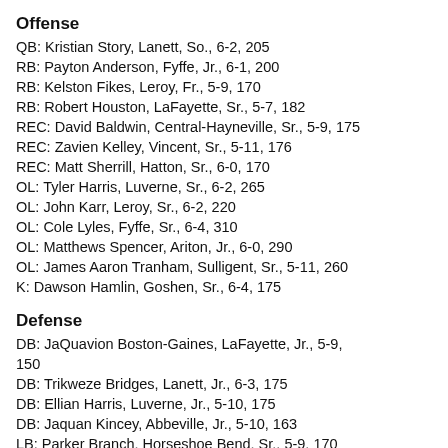Offense
QB: Kristian Story, Lanett, So., 6-2, 205
RB: Payton Anderson, Fyffe, Jr., 6-1, 200
RB: Kelston Fikes, Leroy, Fr., 5-9, 170
RB: Robert Houston, LaFayette, Sr., 5-7, 182
REC: David Baldwin, Central-Hayneville, Sr., 5-9, 175
REC: Zavien Kelley, Vincent, Sr., 5-11, 176
REC: Matt Sherrill, Hatton, Sr., 6-0, 170
OL: Tyler Harris, Luverne, Sr., 6-2, 265
OL: John Karr, Leroy, Sr., 6-2, 220
OL: Cole Lyles, Fyffe, Sr., 6-4, 310
OL: Matthews Spencer, Ariton, Jr., 6-0, 290
OL: James Aaron Tranham, Sulligent, Sr., 5-11, 260
K: Dawson Hamlin, Goshen, Sr., 6-4, 175
Defense
DB: JaQuavion Boston-Gaines, LaFayette, Jr., 5-9, 150
DB: Trikweze Bridges, Lanett, Jr., 6-3, 175
DB: Ellian Harris, Luverne, Jr., 5-10, 175
DB: Jaquan Kincey, Abbeville, Jr., 5-10, 163
LB: Parker Branch, Horseshoe Bend, Sr., 5-9, 170
LB: Chase Cardwell, New Brockton, Sr., 6-1, 212
LB: Court Coley, Westbrook Chr., Sr., 6-2, 215
LB: Andrew Kelley, Winston Co., Sr., 5-11, 190